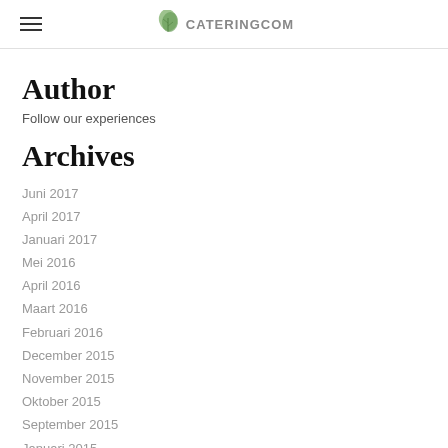CATERINGCOM
Author
Follow our experiences
Archives
Juni 2017
April 2017
Januari 2017
Mei 2016
April 2016
Maart 2016
Februari 2016
December 2015
November 2015
Oktober 2015
September 2015
Januari 2015